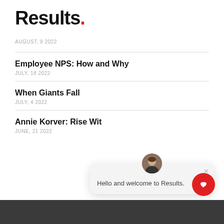Results.
AUGUST, 9 2022
Employee NPS: How and Why
JULY, 18 2022
When Giants Fall
JULY, 4 2022
Annie Korver: Rise Wit
JUNE, 21 2022
[Figure (screenshot): Chat popup with avatar photo, close button, and text: Hello and welcome to Results.]